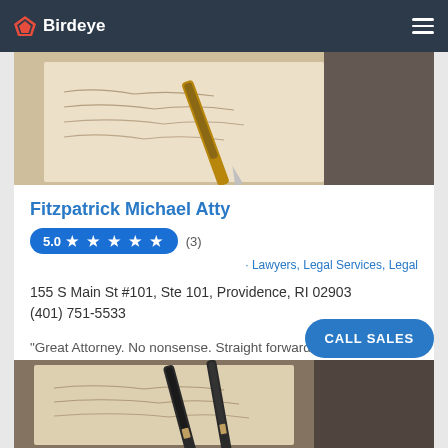Birdeye
[Figure (photo): Close-up photo of a fountain pen resting on handwritten paper]
Fitzpatrick Michael Atty
5.0 ★ ★ ★ ★ ★ (3) · Lawyers, Legal Services, Legal
155 S Main St #101, Ste 101, Providence, RI 02903
(401) 751-5533
"Great Attorney. No nonsense. Straight forward. Nice man"...
[Figure (photo): Close-up photo of two fountain pens resting on handwritten paper]